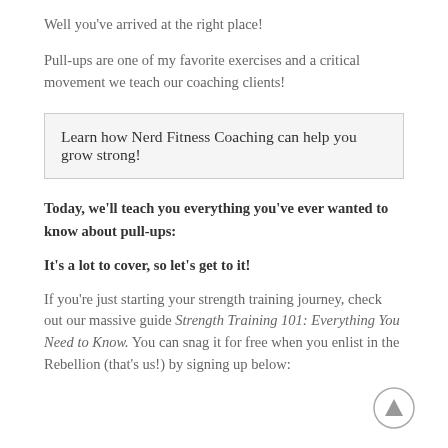Well you've arrived at the right place!
Pull-ups are one of my favorite exercises and a critical movement we teach our coaching clients!
Learn how Nerd Fitness Coaching can help you grow strong!
Today, we'll teach you everything you've ever wanted to know about pull-ups:
It's a lot to cover, so let's get to it!
If you're just starting your strength training journey, check out our massive guide Strength Training 101: Everything You Need to Know. You can snag it for free when you enlist in the Rebellion (that's us!) by signing up below: